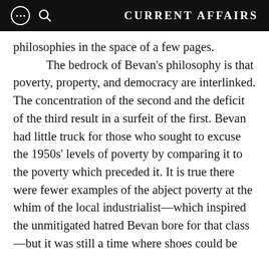CURRENT AFFAIRS
philosophies in the space of a few pages.

The bedrock of Bevan’s philosophy is that poverty, property, and democracy are interlinked. The concentration of the second and the deficit of the third result in a surfeit of the first. Bevan had little truck for those who sought to excuse the 1950s’ levels of poverty by comparing it to the poverty which preceded it. It is true there were fewer examples of the abject poverty at the whim of the local industrialist—which inspired the unmitigated hatred Bevan bore for that class—but it was still a time where shoes could be